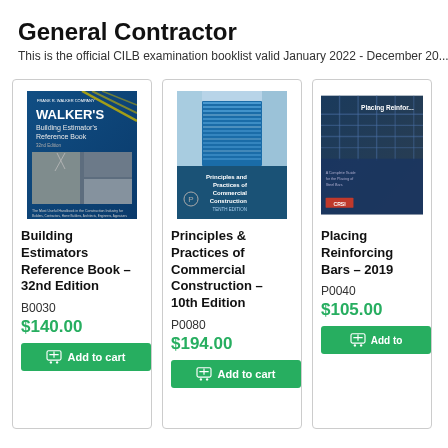General Contractor
This is the official CILB examination booklist valid January 2022 - December 20...
[Figure (illustration): Book cover: Walker's Building Estimators Reference Book]
Building Estimators Reference Book – 32nd Edition
B0030
$140.00
Add to cart
[Figure (illustration): Book cover: Principles and Practices of Commercial Construction, 10th Edition]
Principles & Practices of Commercial Construction – 10th Edition
P0080
$194.00
Add to cart
[Figure (illustration): Book cover: Placing Reinforcing Bars – 2019]
Placing Reinforcing Bars – 2019
P0040
$105.00
Add to cart